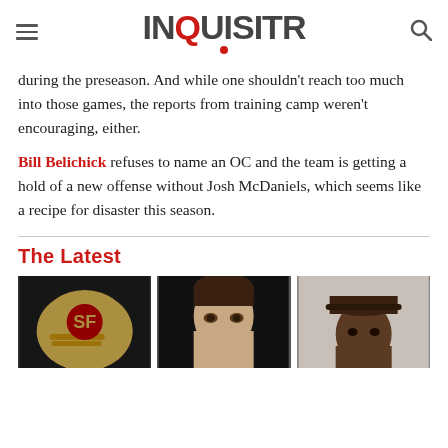INQUISITR
during the preseason. And while one shouldn't reach too much into those games, the reports from training camp weren't encouraging, either.
Bill Belichick refuses to name an OC and the team is getting a hold of a new offense without Josh McDaniels, which seems like a recipe for disaster this season.
The Latest
[Figure (photo): San Francisco 49ers helmet close-up]
[Figure (photo): Close-up portrait of a woman's face]
[Figure (photo): Portrait of a man wearing a hat]